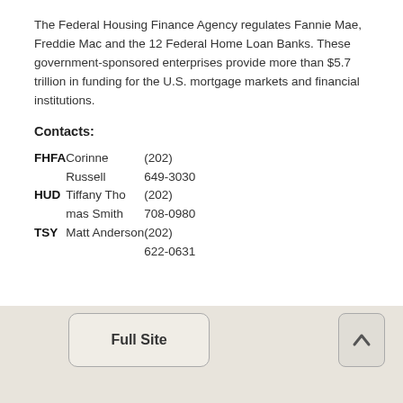The Federal Housing Finance Agency regulates Fannie Mae, Freddie Mac and the 12 Federal Home Loan Banks. These government-sponsored enterprises provide more than $5.7 trillion in funding for the U.S. mortgage markets and financial institutions.
Contacts:
| Organization | Name | Phone |
| --- | --- | --- |
| FHFA | Corinne Russell | (202) 649-3030 |
| HUD | Tiffany Thomas Smith | (202) 708-0980 |
| TSY | Matt Anderson | (202) 622-0631 |
Full Site